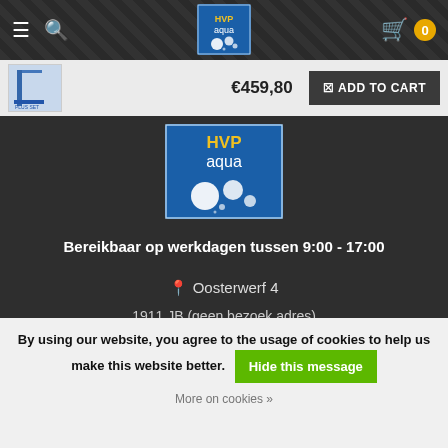HVP Aqua website header with hamburger menu, search icon, logo, and cart (0 items)
[Figure (logo): HVP Aqua logo - blue square with 'HVP aqua' text and water bubbles]
€459,80  ADD TO CART
[Figure (logo): Large HVP aqua logo with blue background and bubble design]
Bereikbaar op werkdagen tussen 9:00 - 17:00
Oosterwerf 4
1911 JB (geen bezoek adres)
By using our website, you agree to the usage of cookies to help us make this website better.  Hide this message
More on cookies »